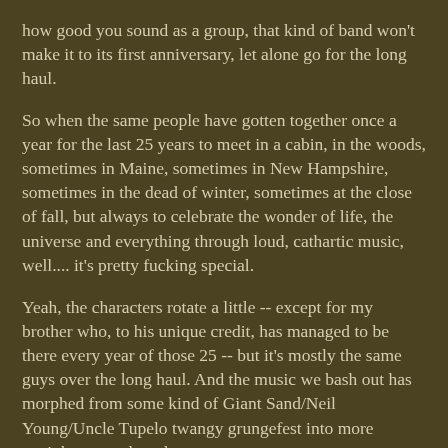how good you sound as a group, that kind of band won't make it to its first anniversary, let alone go for the long haul.

So when the same people have gotten together once a year for the last 25 years to meet in a cabin, in the woods, sometimes in Maine, sometimes in New Hampshire, sometimes in the dead of winter, sometimes at the close of fall, but always to celebrate the wonder of life, the universe and everything through loud, cathartic music, well.... it's pretty fucking special.

Yeah, the characters rotate a little -- except for my brother who, to his unique credit, has managed to be there every year of those 25 -- but it's mostly the same guys over the long haul. And the music we bash out has morphed from some kind of Giant Sand/Neil Young/Uncle Tupelo twangy grungefest into more straight-up punk rock.

And it gets a little more important every year.

Last year took a turn toward the primal, as my and my brother's newfound primal eating led to a near-constant